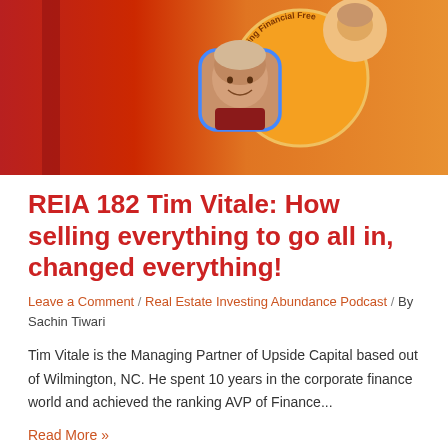[Figure (photo): Hero banner image showing a podcast thumbnail with a man's photo in a rounded square with blue border, overlaid on an orange circular badge with text 'Creating Financial Free...' on a red-orange gradient background.]
REIA 182 Tim Vitale: How selling everything to go all in, changed everything!
Leave a Comment / Real Estate Investing Abundance Podcast / By Sachin Tiwari
Tim Vitale is the Managing Partner of Upside Capital based out of Wilmington, NC. He spent 10 years in the corporate finance world and achieved the ranking AVP of Finance...
Read More »